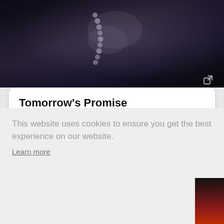[Figure (photo): Dark cinematic hero image at top of page showing dim scene with pearls/beads and a hand]
Tomorrow's Promise
Edward Owens, 1967, United States
HD  45 mins  6.4 / 10 (85)
108 countries
4 months
This website uses cookies to ensure you get the best experience on our website.
Learn more
Got it!